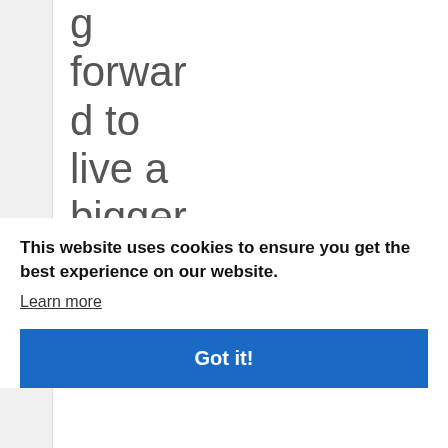g forward to live a bigger life.
Seems simple
This website uses cookies to ensure you get the best experience on our website.
Learn more
Got it!